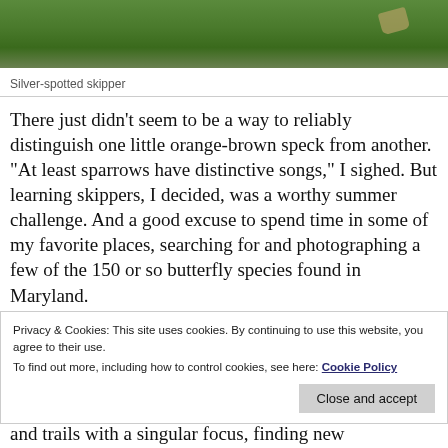[Figure (photo): Partial photo of a Silver-spotted skipper butterfly on green foliage background, cropped at top]
Silver-spotted skipper
There just didn't seem to be a way to reliably distinguish one little orange-brown speck from another.  “At least sparrows have distinctive songs,” I sighed. But learning skippers, I decided, was a worthy summer challenge. And a good excuse to spend time in some of my favorite places, searching for and photographing a few of the 150 or so butterfly species found in Maryland.
Privacy & Cookies: This site uses cookies. By continuing to use this website, you agree to their use.
To find out more, including how to control cookies, see here: Cookie Policy
and trails with a singular focus, finding new